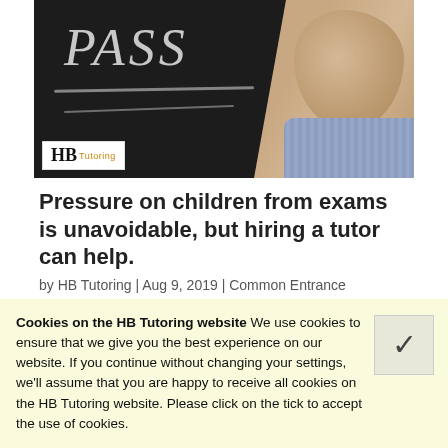[Figure (photo): A hand making a thumbs-up fist gesture next to a chalkboard with 'PASS' written in chalk, with HB Tutoring logo in the bottom-left corner of the image.]
Pressure on children from exams is unavoidable, but hiring a tutor can help.
by HB Tutoring | Aug 9, 2019 | Common Entrance
The Common Entrance Exam. Any educational admissions process can be stressful for students, and
Cookies on the HB Tutoring website We use cookies to ensure that we give you the best experience on our website. If you continue without changing your settings, we'll assume that you are happy to receive all cookies on the HB Tutoring website. Please click on the tick to accept the use of cookies.